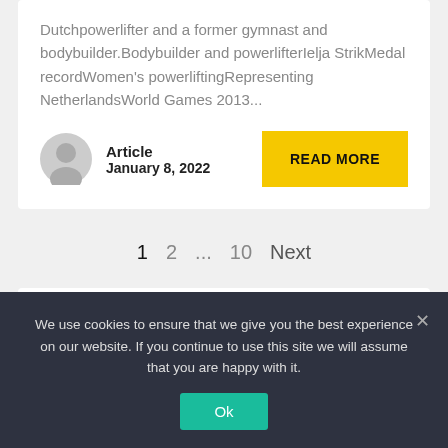Dutchpowerlifter and a former gymnast and bodybuilder.Bodybuilder and powerlifterIelja StrikMedal recordWomen's powerliftingRepresenting NetherlandsWorld Games 2013...
Article
January 8, 2022
READ MORE
1   2   ...   10   Next
We use cookies to ensure that we give you the best experience on our website. If you continue to use this site we will assume that you are happy with it.
Ok